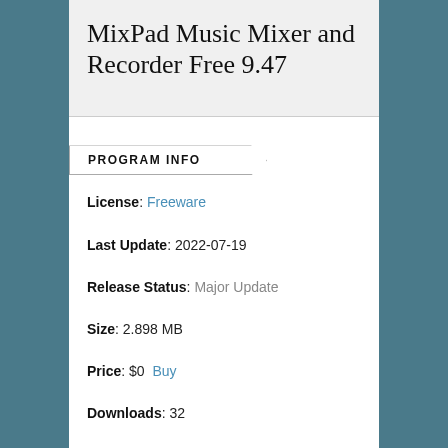MixPad Music Mixer and Recorder Free 9.47
PROGRAM INFO
License: Freeware
Last Update: 2022-07-19
Release Status: Major Update
Size: 2.898 MB
Price: $0  Buy
Downloads: 32
Publisher: NCH Software